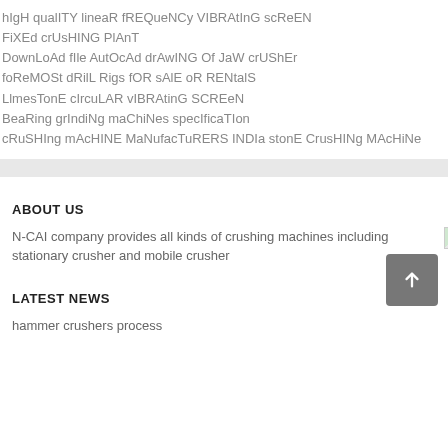hIgH qualITY lineaR fREQueNCy VIBRAtInG scReEN
FiXEd crUsHING PlAnT
DownLoAd fIle AutOcAd drAwING Of JaW crUShEr
foReMOSt dRilL Rigs fOR sAlE oR RENtalS
LlmesTonE cIrcuLAR vIBRAtinG SCREeN
BeaRing grIndiNg maChiNes specIficaTIon
cRuSHIng mAcHINE MaNufacTuRERS INDIa stonE CrusHINg MAcHiNe
ABOUT US
N-CAI company provides all kinds of crushing machines including stationary crusher and mobile crusher
LATEST NEWS
hammer crushers process